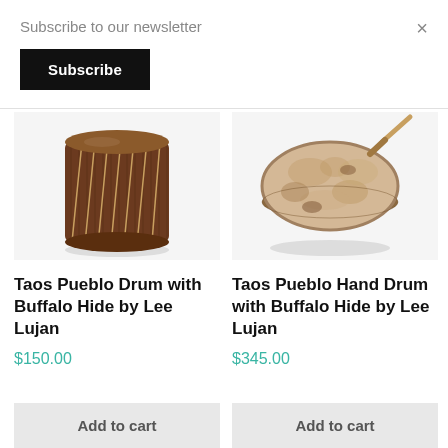Subscribe to our newsletter
Subscribe
×
[Figure (photo): Taos Pueblo Drum with Buffalo Hide - cylindrical wooden drum with rope lacing]
Taos Pueblo Drum with Buffalo Hide by Lee Lujan
$150.00
Add to cart
[Figure (photo): Taos Pueblo Hand Drum with Buffalo Hide - round flat hand drum with wooden beater]
Taos Pueblo Hand Drum with Buffalo Hide by Lee Lujan
$345.00
Add to cart